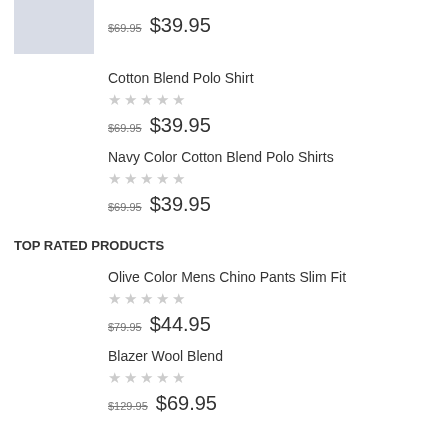[Figure (photo): Partial product thumbnail image showing a light blue/grey fabric item]
$69.95  $39.95
Cotton Blend Polo Shirt
☆☆☆☆☆
$69.95  $39.95
Navy Color Cotton Blend Polo Shirts
☆☆☆☆☆
$69.95  $39.95
TOP RATED PRODUCTS
Olive Color Mens Chino Pants Slim Fit
☆☆☆☆☆
$79.95  $44.95
Blazer Wool Blend
☆☆☆☆☆
$129.95  $69.95